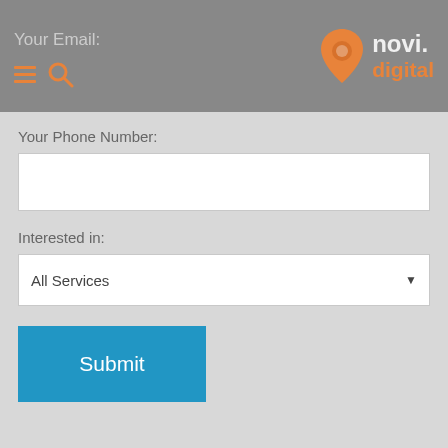Your Email: [hamburger menu icon] [search icon] novi.digital logo
Your Phone Number:
Interested in:
All Services
Submit
Home / Multi-Award-Winning PPC Agency in North Yorkshire
Looking for a PPC Agency in North Yorkshire? Google Premier Partner novi.digital can help...